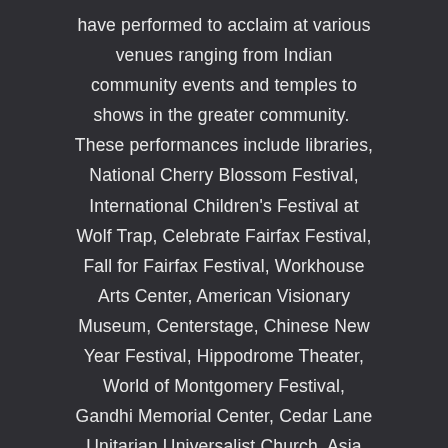have performed to acclaim at various venues ranging from Indian community events and temples to shows in the greater community.  These performances include libraries, National Cherry Blossom Festival, International Children's Festival at Wolf Trap, Celebrate Fairfax Festival, Fall for Fairfax Festival, Workhouse Arts Center, American Visionary Museum, Centerstage, Chinese New Year Festival, Hippodrome Theater, World of Montgomery Festival, Gandhi Memorial Center, Cedar Lane Unitarian Universalist Church, Asia Society's 2011 Global Annual Learning Conference, InterFaith Conference at Washington National Cathedral, shows for the Maryland Governor's Office on Asian-Pacific American